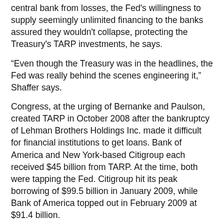central bank from losses, the Fed's willingness to supply seemingly unlimited financing to the banks assured they wouldn't collapse, protecting the Treasury's TARP investments, he says.
“Even though the Treasury was in the headlines, the Fed was really behind the scenes engineering it,” Shaffer says.
Congress, at the urging of Bernanke and Paulson, created TARP in October 2008 after the bankruptcy of Lehman Brothers Holdings Inc. made it difficult for financial institutions to get loans. Bank of America and New York-based Citigroup each received $45 billion from TARP. At the time, both were tapping the Fed. Citigroup hit its peak borrowing of $99.5 billion in January 2009, while Bank of America topped out in February 2009 at $91.4 billion.
No Clue
Lawmakers knew none of this.
They had no clue that one bank, New York-based Morgan Stanley (MS), took $107 billion in Fed loans in September